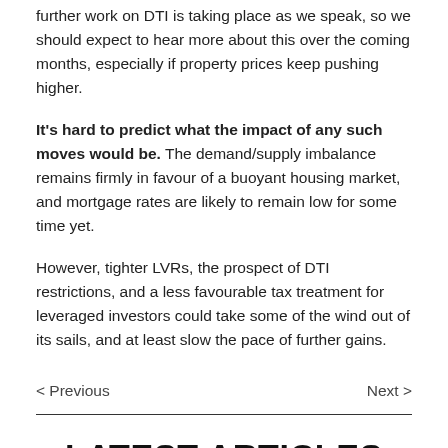further work on DTI is taking place as we speak, so we should expect to hear more about this over the coming months, especially if property prices keep pushing higher.
It's hard to predict what the impact of any such moves would be. The demand/supply imbalance remains firmly in favour of a buoyant housing market, and mortgage rates are likely to remain low for some time yet.
However, tighter LVRs, the prospect of DTI restrictions, and a less favourable tax treatment for leveraged investors could take some of the wind out of its sails, and at least slow the pace of further gains.
< Previous   Next >
LATEST ARTICLES